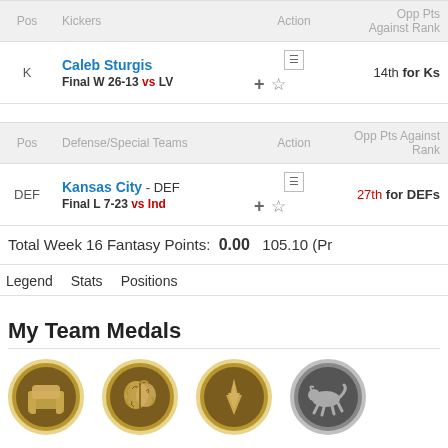| Pos | Kickers | Action | Opp Pts Against Rank |
| --- | --- | --- | --- |
| K | Caleb Sturgis
Final W 26-13 vs LV |  | 14th for Ks |
| Pos | Defense/Special Teams | Action | Opp Pts Against Rank |
| --- | --- | --- | --- |
| DEF | Kansas City - DEF
Final L 7-23 vs Ind |  | 27th for DEFs |
Total Week 16 Fantasy Points: 0.00   105.10 (Pr
Legend
Stats
Positions
My Team Medals
[Figure (illustration): Four medal icons: three gold medals with icons (armchair, brain, hand pointing), one silver medal with a running animal icon]
View all league medals »